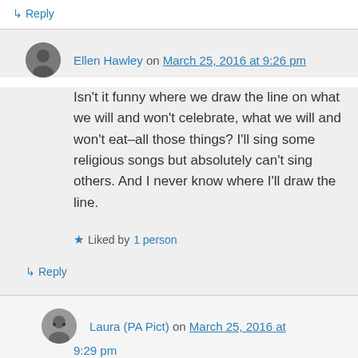↳ Reply
Ellen Hawley on March 25, 2016 at 9:26 pm
Isn't it funny where we draw the line on what we will and won't celebrate, what we will and won't eat–all those things? I'll sing some religious songs but absolutely can't sing others. And I never know where I'll draw the line.
★ Liked by 1 person
↳ Reply
Laura (PA Pict) on March 25, 2016 at 9:29 pm